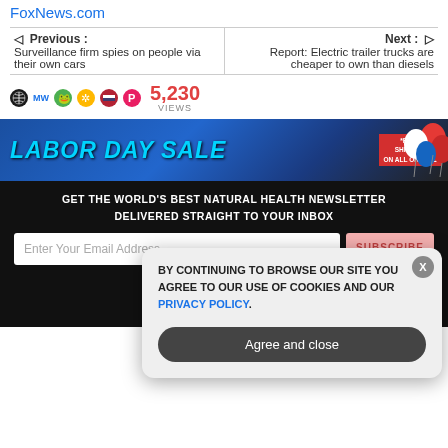FoxNews.com
Previous : Surveillance firm spies on people via their own cars
Next : Report: Electric trailer trucks are cheaper to own than diesels
5,230 VIEWS
[Figure (screenshot): Labor Day Sale banner advertisement with blue background, cyan italic text 'LABOR DAY SALE', red FREE SHIPPING badge, and red/white/blue balloons on right side]
[Figure (screenshot): Dark newsletter signup section with text 'GET THE WORLD'S BEST NATURAL HEALTH NEWSLETTER DELIVERED STRAIGHT TO YOUR INBOX', email input field, subscribe button, and close X]
[Figure (screenshot): Cookie consent modal dialog with text 'BY CONTINUING TO BROWSE OUR SITE YOU AGREE TO OUR USE OF COOKIES AND OUR PRIVACY POLICY.' with Agree and close button and X close button]